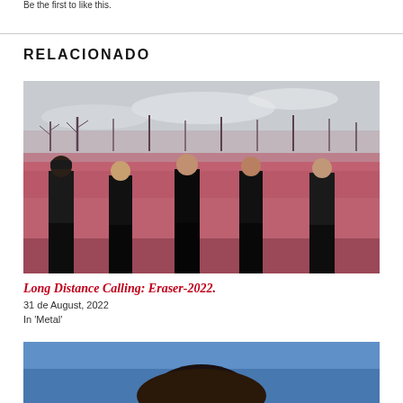Be the first to like this.
RELACIONADO
[Figure (photo): Band photo of Long Distance Calling — five men dressed in black standing in a field with pink/reddish grass and bare trees in the background]
Long Distance Calling: Eraser-2022.
31 de August, 2022
In 'Metal'
[Figure (photo): Partial photo of a person, partially cut off at the bottom of the page]